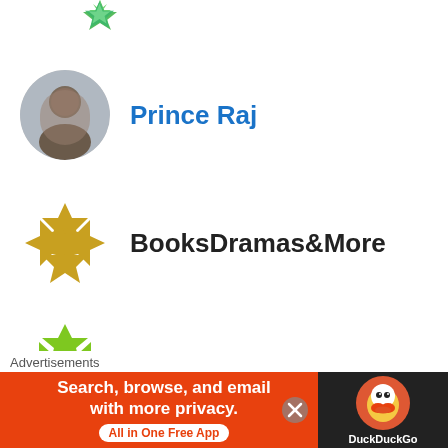[Figure (illustration): Partial green star/snowflake logo at top]
Prince Raj
BooksDramas&More
kothsaaks
kshitijo70
lakshmibalasubramanian
Advertisements
[Figure (screenshot): DuckDuckGo advertisement banner: Search, browse, and email with more privacy. All in One Free App]